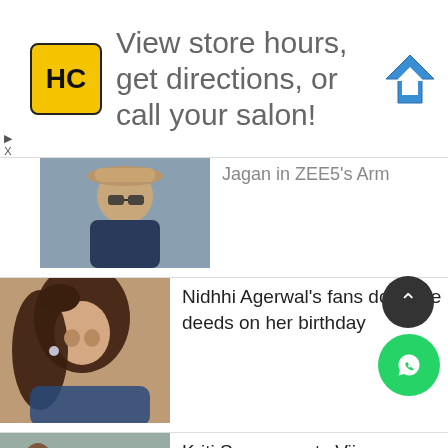[Figure (screenshot): Advertisement banner: HC salon logo, text 'View store hours, get directions, or call your salon!' with blue navigation arrow icon]
[Figure (photo): Man wearing sunglasses and a hat, partial view - news item thumbnail]
Jagan in ZEE5's Arm
[Figure (photo): Woman with long hair posing - Nidhhi Agerwal photo]
Nidhhi Agerwal's fans do noble deeds on her birthday
[Figure (photo): Two people - Kriti Sanon and Vijay Deverakonda photo]
Kriti Sanon wants Vijay Deverakonda in her 'Swayamvaram'